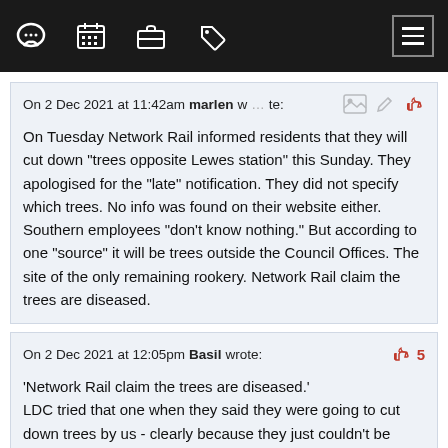Navigation bar with icons: chat, calendar, briefcase, tag, hamburger menu
On 2 Dec 2021 at 11:42am marlen wrote:
On Tuesday Network Rail informed residents that they will cut down "trees opposite Lewes station" this Sunday. They apologised for the "late" notification. They did not specify which trees. No info was found on their website either. Southern employees "don't know nothing." But according to one "source" it will be trees outside the Council Offices. The site of the only remaining rookery. Network Rail claim the trees are diseased.
On 2 Dec 2021 at 12:05pm Basil wrote:
'Network Rail claim the trees are diseased.'
LDC tried that one when they said they were going to cut down trees by us - clearly because they just couldn't be bothered to look after them. Fortunately we knew a tree expert who proved they were lying and they withdrew their threat.